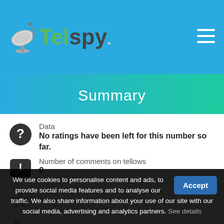Telspy
Summary
Data
No ratings have been left for this number so far.
Number of comments on tellows
0
Telspy rating
Phone number with prefix
We use cookies to personalise content and ads, to provide social media features and to analyse our traffic. We also share information about your use of our site with our social media, advertising and analytics partners. See details